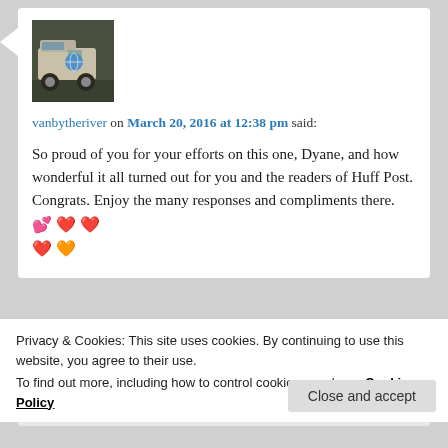[Figure (photo): Avatar image of a van illustration on dark green/grey background]
vanbytheriver on March 20, 2016 at 12:38 pm said:
So proud of you for your efforts on this one, Dyane, and how wonderful it all turned out for you and the readers of Huff Post. Congrats. Enjoy the many responses and compliments there. 💕 ❤️ ❤️ ❤️ 🧡
[Figure (photo): Avatar photo of dyane, a woman with dark hair]
dyane on March 20, 2016 at 2:29 pm said:
Privacy & Cookies: This site uses cookies. By continuing to use this website, you agree to their use.
To find out more, including how to control cookies, see here: Cookie Policy